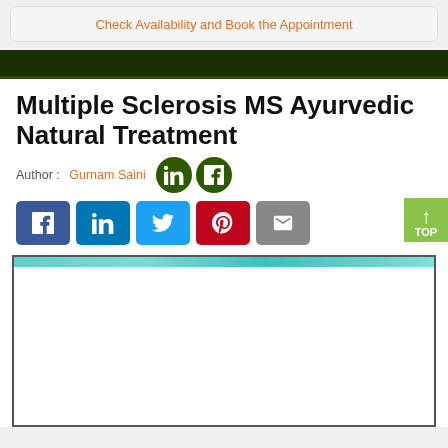Check Availability and Book the Appointment
Multiple Sclerosis MS Ayurvedic Natural Treatment
Author : Gurnam Saini
[Figure (illustration): Article header image with teal/turquoise background, likely showing a related medical illustration]
[Figure (infographic): Green TOP button with upward arrow on right side]